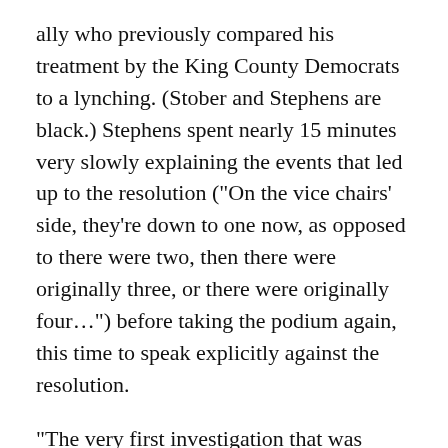ally who previously compared his treatment by the King County Democrats to a lynching. (Stober and Stephens are black.) Stephens spent nearly 15 minutes very slowly explaining the events that led up to the resolution ("On the vice chairs' side, they're down to one now, as opposed to there were two, then there were originally three, or there were originally four...") before taking the podium again, this time to speak explicitly against the resolution.
"The very first investigation that was done, in my opinion, was totally flawed. Its biggest flaw was not taking the time that we still have not had to actually hear from the accused." (According to the vice chairs who did the initial investigation, Stober refused to speak to them without a lawyer present, then